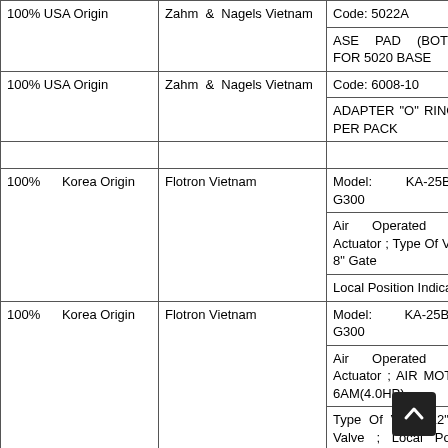| Origin | Supplier | Description |
| --- | --- | --- |
| 100% USA Origin | Zahm & Nagels Vietnam | Code: 5022A
ASE PAD (BOTTOM) FOR 5020 BASE |
| 100% USA Origin | Zahm & Nagels Vietnam | Code: 6008-10
ADAPTER "O" RING 10 PER PACK |
|  |  |  |
| 100% Korea Origin | Flotron Vietnam | Model: KA-25B-08T-G300
Air Operated Valve Actuator ; Type Of Valve : 8" Gate
Local Position Indicator |
| 100% Korea Origin | Flotron Vietnam | Model: KA-25B-12S-G300
Air Operated Valve Actuator ; AIR MOTOR : 6AM(4.0HP)
Type Of Valve: 12" Gate Valve ; Local Position Indicator |
| 100% Korea... |  | Model: KA-25B-14S-G300
Air Operated Valve Actuator ; AIR MOTOR... |